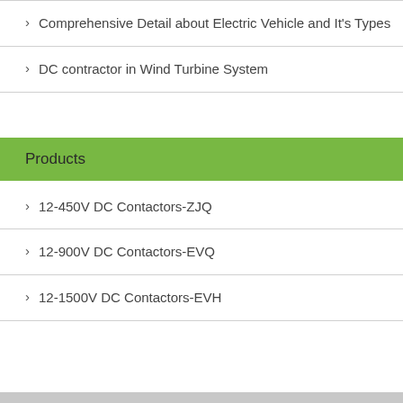Comprehensive Detail about Electric Vehicle and It's Types
DC contractor in Wind Turbine System
Products
12-450V DC Contactors-ZJQ
12-900V DC Contactors-EVQ
12-1500V DC Contactors-EVH